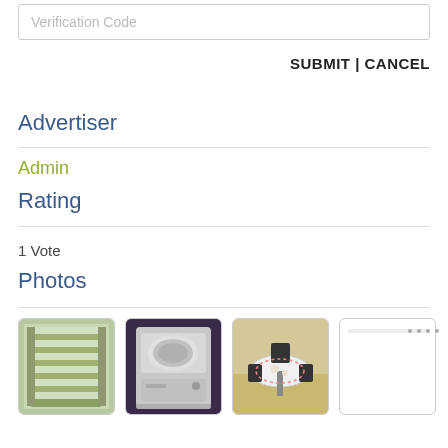Verification Code
SUBMIT | CANCEL
Advertiser
Admin
Rating
1 Vote
Photos
[Figure (photo): Thumbnail of open refrigerator showing interior shelves]
[Figure (photo): Thumbnail of a top-loading washing machine, white, on dark background]
[Figure (photo): Thumbnail of a dining table with chairs in a room]
[Figure (other): Loading placeholder with progress bar and dots]